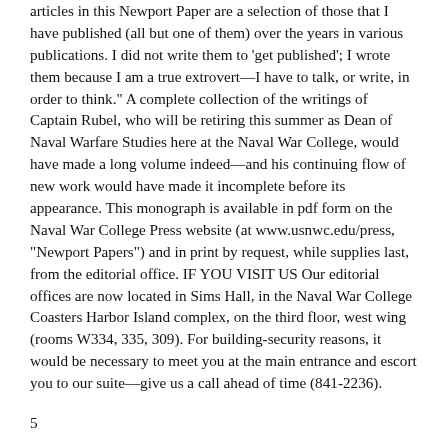articles in this Newport Paper are a selection of those that I have published (all but one of them) over the years in various publications. I did not write them to 'get published'; I wrote them because I am a true extrovert—I have to talk, or write, in order to think." A complete collection of the writings of Captain Rubel, who will be retiring this summer as Dean of Naval Warfare Studies here at the Naval War College, would have made a long volume indeed—and his continuing flow of new work would have made it incomplete before its appearance. This monograph is available in pdf form on the Naval War College Press website (at www.usnwc.edu/press, "Newport Papers") and in print by request, while supplies last, from the editorial office. IF YOU VISIT US Our editorial offices are now located in Sims Hall, in the Naval War College Coasters Harbor Island complex, on the third floor, west wing (rooms W334, 335, 309). For building-security reasons, it would be necessary to meet you at the main entrance and escort you to our suite—give us a call ahead of time (841-2236).
5
China's Maritime Disputes in the East and South China Seas
Testimony by Peter A. Dutton before a Hearing of the House